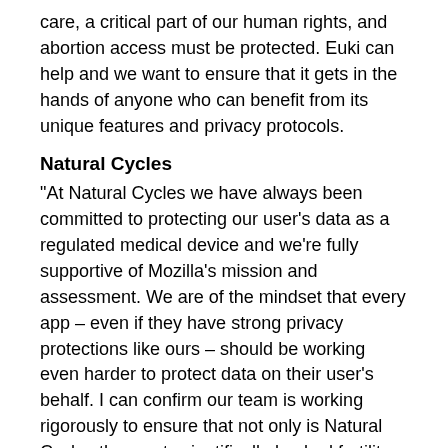care, a critical part of our human rights, and abortion access must be protected. Euki can help and we want to ensure that it gets in the hands of anyone who can benefit from its unique features and privacy protocols.
Natural Cycles
"At Natural Cycles we have always been committed to protecting our user's data as a regulated medical device and we're fully supportive of Mozilla's mission and assessment. We are of the mindset that every app – even if they have strong privacy protections like ours – should be working even harder to protect data on their user's behalf. I can confirm our team is working rigorously to ensure that not only is Natural Cycles the most scientifically-backed fertility app, that we have the strongest data protections too."
Clue Period & Cycle Tracker
"You can find Clue's stance about privacy here from the co-CEOs: Data is power, and responsibility: what